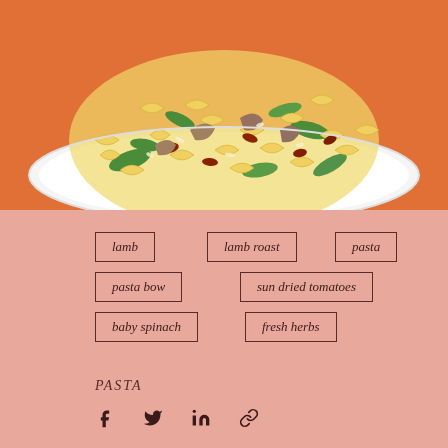[Figure (photo): A white plate of farfalle (bow-tie) pasta with lamb roast, sun dried tomatoes, baby spinach, and fresh herbs on an orange-toned background]
lamb
lamb roast
pasta
pasta bow
sun dried tomatoes
baby spinach
fresh herbs
PASTA
[Figure (illustration): Social media share icons: Facebook, Twitter, LinkedIn, and link/chain icon]